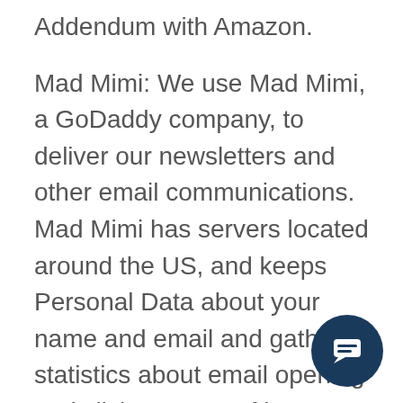Addendum with Amazon.
Mad Mimi: We use Mad Mimi, a GoDaddy company, to deliver our newsletters and other email communications. Mad Mimi has servers located around the US, and keeps Personal Data about your name and email and gathers statistics about email opening and clicks as part of its service. Mad Mimi is a US company, the data of which are in the US. As described their legal policies, they have